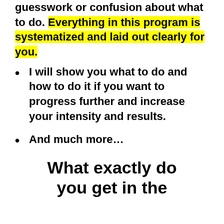guesswork or confusion about what to do. Everything in this program is systematized and laid out clearly for you.
I will show you what to do and how to do it if you want to progress further and increase your intensity and results.
And much more…
What exactly do you get in the